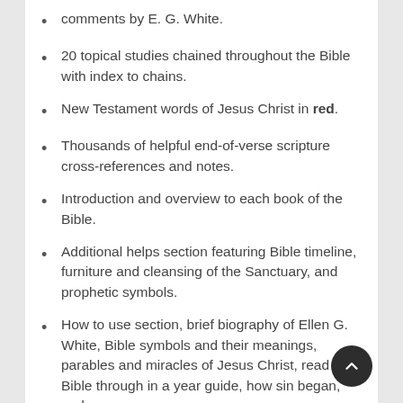comments by E. G. White.
20 topical studies chained throughout the Bible with index to chains.
New Testament words of Jesus Christ in red.
Thousands of helpful end-of-verse scripture cross-references and notes.
Introduction and overview to each book of the Bible.
Additional helps section featuring Bible timeline, furniture and cleansing of the Sanctuary, and prophetic symbols.
How to use section, brief biography of Ellen G. White, Bible symbols and their meanings, parables and miracles of Jesus Christ, read your Bible through in a year guide, how sin began, and more.
Extensive NKJV concordance, 8-page section of color maps, 2 ribbon markers, 1/2" margins and pages for personal notes.